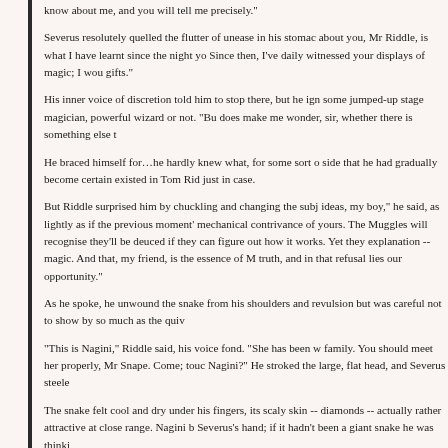know about me, and you will tell me precisely."
Severus resolutely quelled the flutter of unease in his stomach. "What I know about you, Mr Riddle, is what I have learnt since the night you appeared. Since then, I've daily witnessed your displays of magic; I would call them gifts."
His inner voice of discretion told him to stop there, but he ignored it, like some jumped-up stage magician, powerful wizard or not. "But something does make me wonder, sir, whether there is something else t
He braced himself for...he hardly knew what, for some sort of dark side that he had gradually become certain existed in Tom Rid just in case.
But Riddle surprised him by chuckling and changing the subj ideas, my boy," he said, as lightly as if the previous moment' mechanical contrivance of yours. The Muggles will recognise they'll be deuced if they can figure out how it works. Yet they explanation -- magic. And that, my friend, is the essence of M truth, and in that refusal lies our opportunity."
As he spoke, he unwound the snake from his shoulders and revulsion but was careful not to show by so much as the quiv
"This is Nagini," Riddle said, his voice fond. "She has been w family. You should meet her properly, Mr Snape. Come; touc Nagini?" He stroked the large, flat head, and Severus steele
The snake felt cool and dry under his fingers, its scaly skin -- diamonds -- actually rather attractive at close range. Nagini b Severus's hand; if it hadn't been a giant snake he was thinki